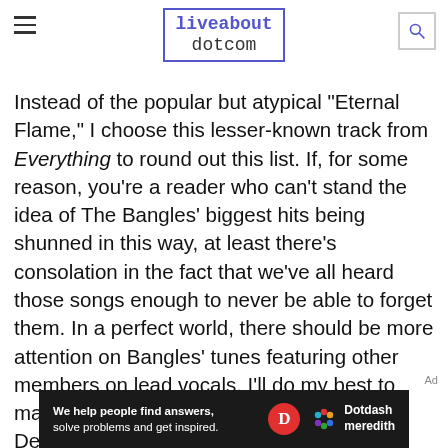liveabout dotcom
Instead of the popular but atypical "Eternal Flame," I choose this lesser-known track from Everything to round out this list. If, for some reason, you're a reader who can't stand the idea of The Bangles' biggest hits being shunned in this way, at least there's consolation in the fact that we've all heard those songs enough to never be able to forget them. In a perfect world, there should be more attention on Bangles' tunes featuring other members on lead vocals. I'll do my best to make a dent here by spotlighting drummer Debbi
[Figure (other): Dotdash Meredith advertisement banner with tagline 'We help people find answers, solve problems and get inspired.']